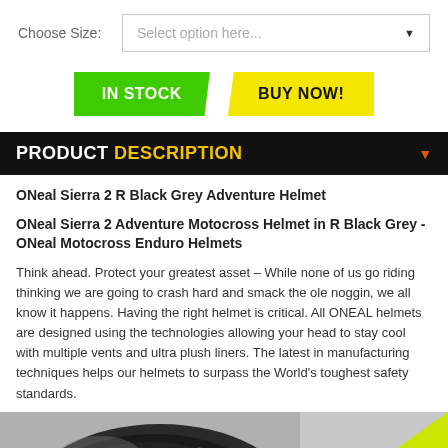Choose Size:
Select option here...
IN STOCK
BUY NOW!
PRODUCT DESCRIPTION
ONeal Sierra 2 R Black Grey Adventure Helmet
ONeal Sierra 2 Adventure Motocross Helmet in R Black Grey - ONeal Motocross Enduro Helmets
Think ahead. Protect your greatest asset – While none of us go riding thinking we are going to crash hard and smack the ole noggin, we all know it happens. Having the right helmet is critical. All ONEAL helmets are designed using the technologies allowing your head to stay cool with multiple vents and ultra plush liners. The latest in manufacturing techniques helps our helmets to surpass the World's toughest safety standards.
[Figure (photo): Photo of a black and grey adventure motocross helmet with a neon yellow-green triangular design element on the right side]